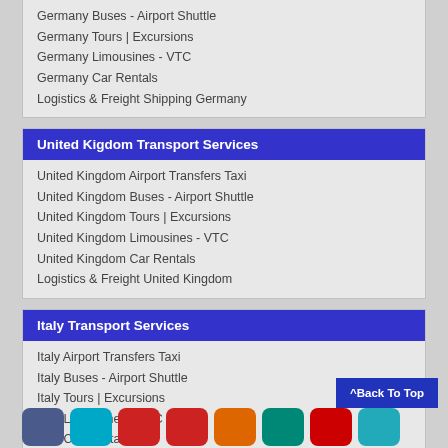Germany Buses - Airport Shuttle
Germany Tours | Excursions
Germany Limousines - VTC
Germany Car Rentals
Logistics & Freight Shipping Germany
United Kigdom Transport Services
United Kingdom Airport Transfers Taxi
United Kingdom Buses - Airport Shuttle
United Kingdom Tours | Excursions
United Kingdom Limousines - VTC
United Kingdom Car Rentals
Logistics & Freight United Kingdom
Italy Transport Services
Italy Airport Transfers Taxi
Italy Buses - Airport Shuttle
Italy Tours | Excursions
Italy Limousines - VTC
Italy Car Rentals
Logistics & Freight Shipping Italy
Airport Transfers Taxi